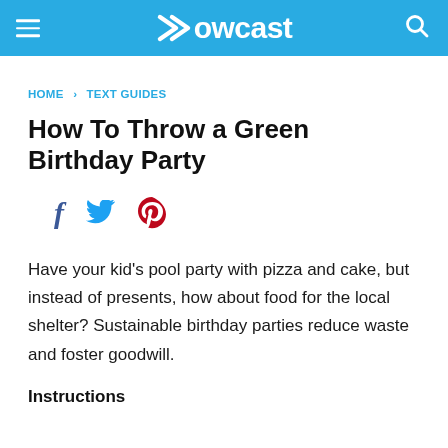Howcast
HOME › TEXT GUIDES
How To Throw a Green Birthday Party
[Figure (other): Social media sharing icons: Facebook (f), Twitter (bird), Pinterest (p)]
Have your kid's pool party with pizza and cake, but instead of presents, how about food for the local shelter? Sustainable birthday parties reduce waste and foster goodwill.
Instructions